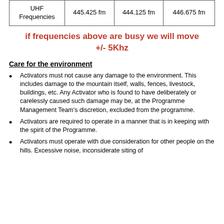|  |  |  |  |
| --- | --- | --- | --- |
| UHF Frequencies | 445.425 fm | 444.125 fm | 446.675 fm |
if frequencies above are busy we will move +/- 5Khz
Care for the environment
Activators must not cause any damage to the environment. This includes damage to the mountain itself, walls, fences, livestock, buildings, etc. Any Activator who is found to have deliberately or carelessly caused such damage may be, at the Programme Management Team's discretion, excluded from the programme.
Activators are required to operate in a manner that is in keeping with the spirit of the Programme.
Activators must operate with due consideration for other people on the hills. Excessive noise, inconsiderate siting of